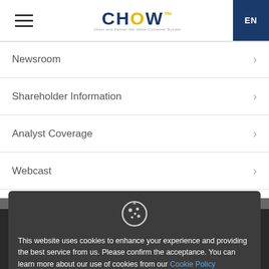CHOW — EN
Newsroom
Shareholder Information
Analyst Coverage
Webcast
Information Request
LINK TO SUBSIDIARIES
This website uses cookies to enhance your experience and providing the best service from us. Please confirm the acceptance. You can learn more about our use of cookies from our Cookie Policy
COPYRIGHT © ... LIMITED